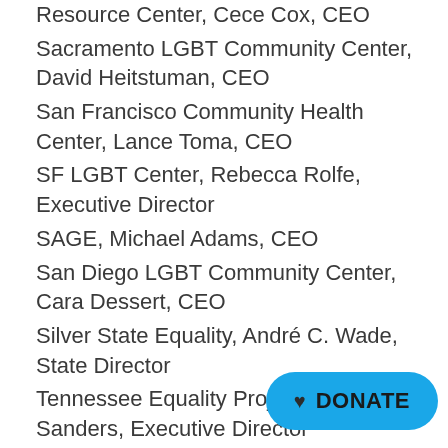Resource Center, Cece Cox, CEO
Sacramento LGBT Community Center, David Heitstuman, CEO
San Francisco Community Health Center, Lance Toma, CEO
SF LGBT Center, Rebecca Rolfe, Executive Director
SAGE, Michael Adams, CEO
San Diego LGBT Community Center, Cara Dessert, CEO
Silver State Equality, André C. Wade, State Director
Tennessee Equality Project, Chris Sanders, Executive Director
The Diversity Center, Sh[...], Executive Director
The Gala Pride and Diversity Center